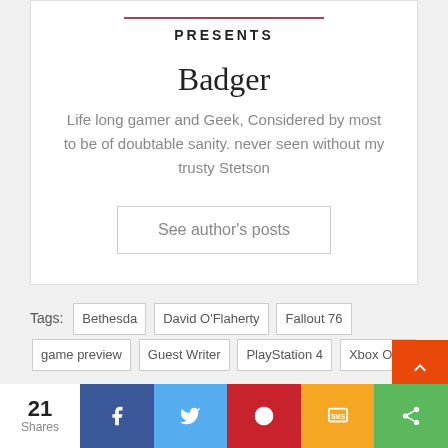PRESENTS
Badger
Life long gamer and Geek, Considered by most to be of doubtable sanity. never seen without my trusty Stetson
See author's posts
Tags: Bethesda  David O'Flaherty  Fallout 76  game preview  Guest Writer  PlayStation 4  Xbox One
Previous
21 Shares